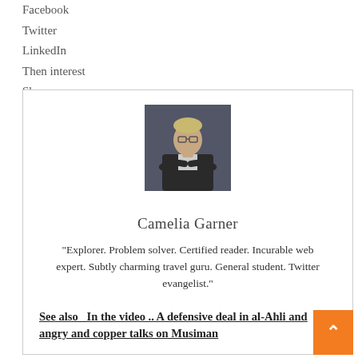Facebook
Twitter
LinkedIn
Then interest
Share
[Figure (photo): Professional headshot of Camelia Garner, a person with glasses wearing a dark jacket with arms crossed, against a dark grey background.]
Camelia Garner
"Explorer. Problem solver. Certified reader. Incurable web expert. Subtly charming travel guru. General student. Twitter evangelist."
See also  In the video .. A defensive deal in al-Ahli and angry and copper talks on Musiman